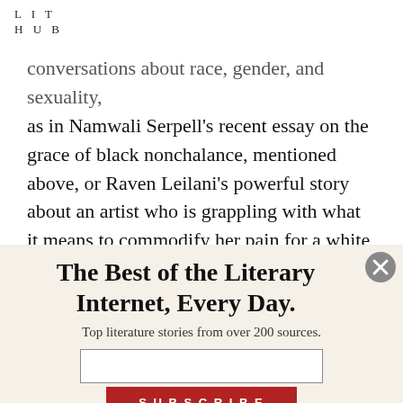LIT
HUB
conversations about race, gender, and sexuality, as in Namwali Serpell's recent essay on the grace of black nonchalance, mentioned above, or Raven Leilani's powerful story about an artist who is grappling with what it means to commodify her pain for a white audience. I'm also especially proud of some of the
The Best of the Literary Internet, Every Day.
Top literature stories from over 200 sources.
SUBSCRIBE